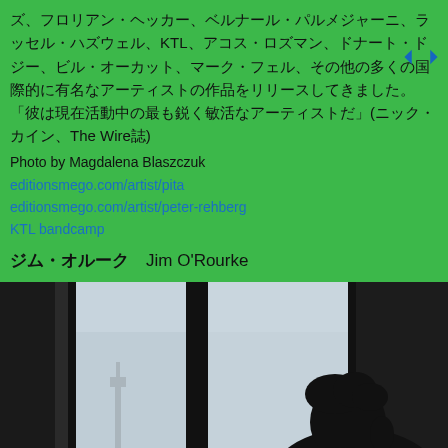ズ、フロリアン・ヘッカー、ベルナール・パルメジャーニ、ラッセル・ハズウェル、KTL、アコス・ロズマン、ドナート・ドジー、ビル・オーカット、マーク・フェル、その他の多くの国際的に有名なアーティストの作品をリリースしてきました。「彼は現在活動中の最も鋭く敏活なアーティストだ」(ニック・カイン、The Wire誌)
Photo by Magdalena Blaszczuk
editionsmego.com/artist/pita
editionsmego.com/artist/peter-rehberg
KTL bandcamp
ジム・オルーク  Jim O'Rourke
[Figure (photo): Silhouette of a person with curly hair seen from the side, sitting near large windows with curtains, looking out at an overcast sky. A tall structure (possibly a tower) is faintly visible in the background.]